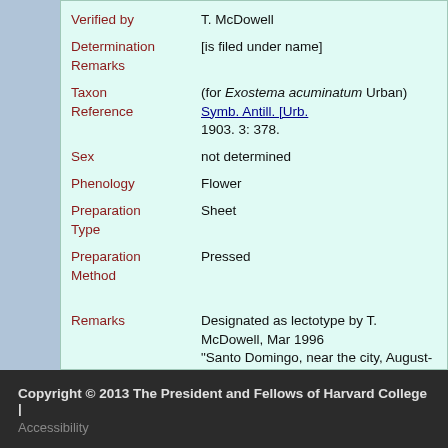Verified by: T. McDowell
Determination Remarks: [is filed under name]
Taxon Reference: (for Exostema acuminatum Urban) Symb. Antill. [Urb.] 1903. 3: 378.
Sex: not determined
Phenology: Flower
Preparation Type: Sheet
Preparation Method: Pressed
Remarks: Designated as lectotype by T. McDowell, Mar 1996 "Santo Domingo, near the city, August-September", several syntypes named by Urban (1903)
Copyright © 2013 The President and Fellows of Harvard College | Accessibility